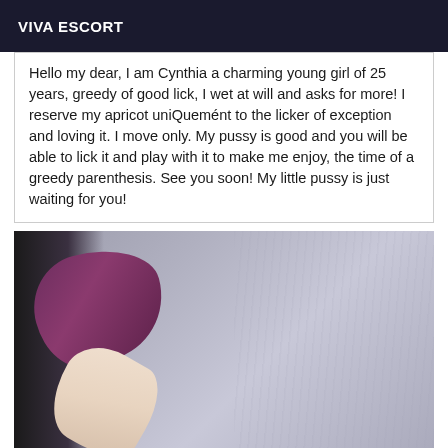VIVA ESCORT
Hello my dear, I am Cynthia a charming young girl of 25 years, greedy of good lick, I wet at will and asks for more! I reserve my apricot uniQuemént to the licker of exception and loving it. I move only. My pussy is good and you will be able to lick it and play with it to make me enjoy, the time of a greedy parenthesis. See you soon! My little pussy is just waiting for you!
[Figure (photo): A photograph showing partial view of a person with purple fabric/clothing and a bare leg against a grey textured background]